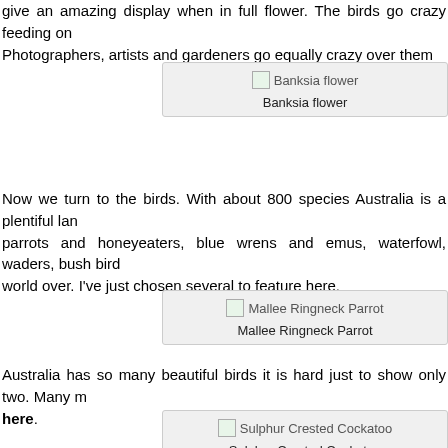give an amazing display when in full flower. The birds go crazy feeding on. Photographers, artists and gardeners go equally crazy over them
[Figure (photo): Banksia flower image placeholder with caption 'Banksia flower']
Now we turn to the birds. With about 800 species Australia is a plentiful land, parrots and honeyeaters, blue wrens and emus, waterfowl, waders, bush birds world over. I've just chosen several to feature here.
[Figure (photo): Mallee Ringneck Parrot image placeholder with caption 'Mallee Ringneck Parrot']
Australia has so many beautiful birds it is hard just to show only two. Many m here.
[Figure (photo): Sulphur Crested Cockatoo image placeholder with caption 'Sulphur Crested Cockatoo']